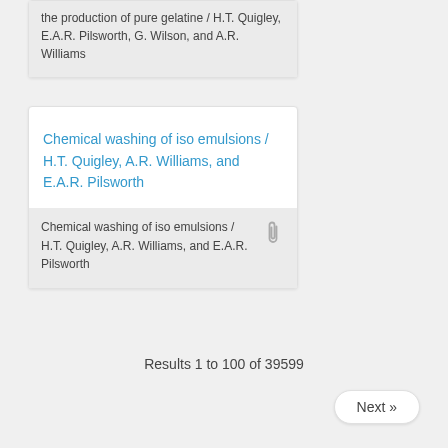the production of pure gelatine / H.T. Quigley, E.A.R. Pilsworth, G. Wilson, and A.R. Williams
Chemical washing of iso emulsions / H.T. Quigley, A.R. Williams, and E.A.R. Pilsworth
Chemical washing of iso emulsions / H.T. Quigley, A.R. Williams, and E.A.R. Pilsworth
Results 1 to 100 of 39599
Next »